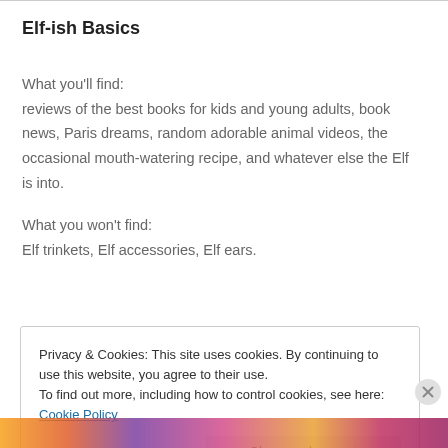Elf-ish Basics
What you'll find:
reviews of the best books for kids and young adults, book news, Paris dreams, random adorable animal videos, the occasional mouth-watering recipe, and whatever else the Elf is into.
What you won't find:
Elf trinkets, Elf accessories, Elf ears.
Privacy & Cookies: This site uses cookies. By continuing to use this website, you agree to their use.
To find out more, including how to control cookies, see here: Cookie Policy
Close and accept